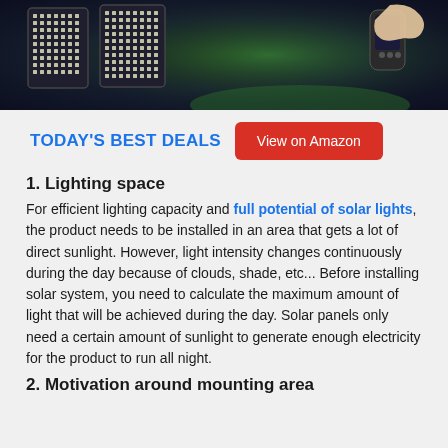[Figure (photo): Solar flood lights with LED panels and a hand holding a remote control against a dark background with green lighting]
TODAY'S BEST DEALS   View on Amazon
1. Lighting space
For efficient lighting capacity and full potential of solar lights, the product needs to be installed in an area that gets a lot of direct sunlight. However, light intensity changes continuously during the day because of clouds, shade, etc... Before installing solar system, you need to calculate the maximum amount of light that will be achieved during the day. Solar panels only need a certain amount of sunlight to generate enough electricity for the product to run all night.
2. Motivation around mounting area